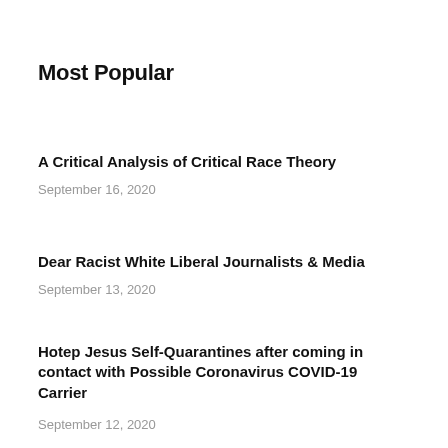Most Popular
A Critical Analysis of Critical Race Theory
September 16, 2020
Dear Racist White Liberal Journalists & Media
September 13, 2020
Hotep Jesus Self-Quarantines after coming in contact with Possible Coronavirus COVID-19 Carrier
September 12, 2020